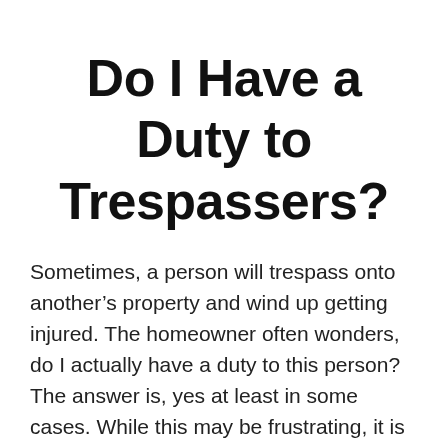Do I Have a Duty to Trespassers?
Sometimes, a person will trespass onto another’s property and wind up getting injured. The homeowner often wonders, do I actually have a duty to this person? The answer is, yes at least in some cases. While this may be frustrating, it is the law. The exact duty will depend on the circumstances of your case and will vary depending on the facts. A Portland Premises Liability Attorney at Johnson Law can examine your situation and advise you